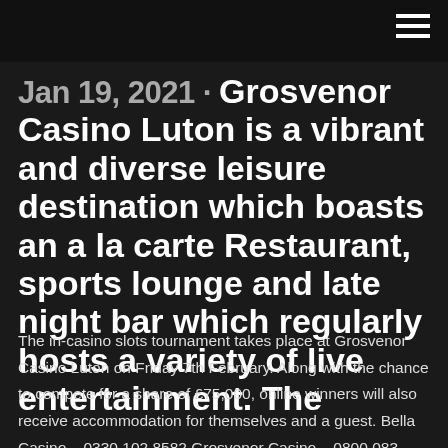Jan 19, 2021 · Grosvenor Casino Luton is a vibrant and diverse leisure destination which boasts an a la carte Restaurant, sports lounge and late night bar which regularly hosts a variety of live entertainment. The
The in-casino slots tournament takes place at Grosvenor Casino Luton on Friday 7th February. Along with the chance to compete for a share of £75,000, online winners will also receive accommodation for themselves and a guest. Bella Casino – 0330 102 8582 Grosvenor Casino – 0800 083 1990 Luda – 0800 107 9435 Mecca Bingo - 0800 083 1988. Email: